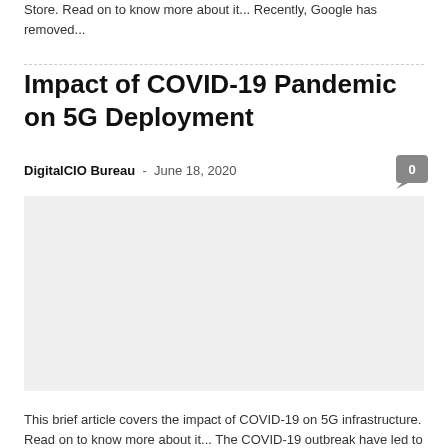Store. Read on to know more about it... Recently, Google has removed...
Impact of COVID-19 Pandemic on 5G Deployment
DigitalCIO Bureau - June 18, 2020
[Figure (photo): Image related to 5G deployment article, appears blank/white]
5G Technology
This brief article covers the impact of COVID-19 on 5G infrastructure. Read on to know more about it... The COVID-19 outbreak have led to the